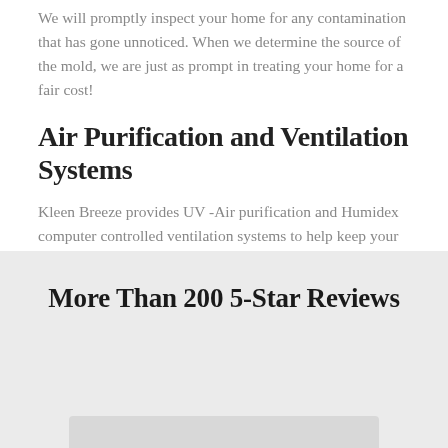We will promptly inspect your home for any contamination that has gone unnoticed. When we determine the source of the mold, we are just as prompt in treating your home for a fair cost!
Air Purification and Ventilation Systems
Kleen Breeze provides UV -Air purification and Humidex computer controlled ventilation systems to help keep your indoor air quality at its peak. Give us a call to ensure that your family is breathing healthy air each day.
More Than 200 5-Star Reviews